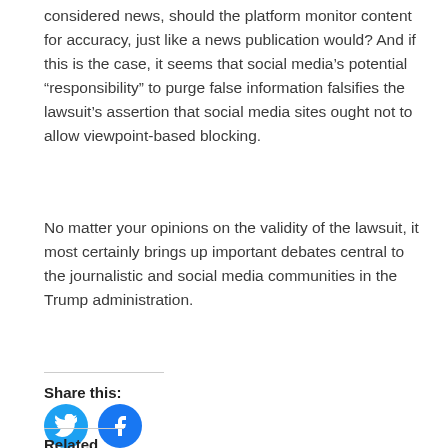considered news, should the platform monitor content for accuracy, just like a news publication would? And if this is the case, it seems that social media’s potential “responsibility” to purge false information falsifies the lawsuit’s assertion that social media sites ought not to allow viewpoint-based blocking.
No matter your opinions on the validity of the lawsuit, it most certainly brings up important debates central to the journalistic and social media communities in the Trump administration.
Share this:
[Figure (logo): Twitter bird icon in a blue circle]
[Figure (logo): Facebook f icon in a blue circle]
Related